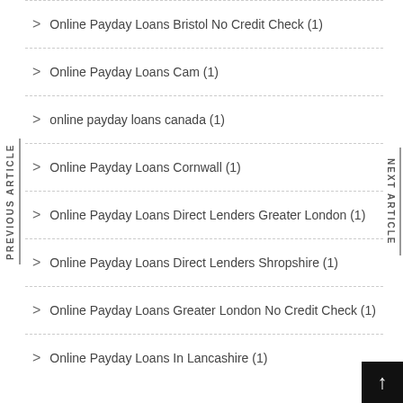Online Payday Loans Bristol No Credit Check (1)
Online Payday Loans Cam (1)
online payday loans canada (1)
Online Payday Loans Cornwall (1)
Online Payday Loans Direct Lenders Greater London (1)
Online Payday Loans Direct Lenders Shropshire (1)
Online Payday Loans Greater London No Credit Check (1)
Online Payday Loans In Lancashire (1)